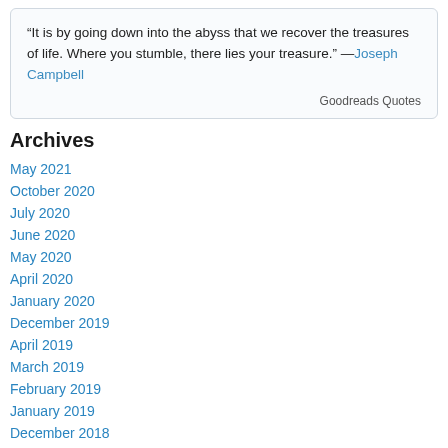“It is by going down into the abyss that we recover the treasures of life. Where you stumble, there lies your treasure.” —Joseph Campbell
Goodreads Quotes
Archives
May 2021
October 2020
July 2020
June 2020
May 2020
April 2020
January 2020
December 2019
April 2019
March 2019
February 2019
January 2019
December 2018